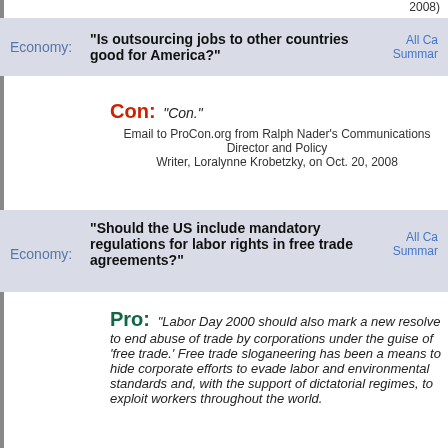2008)
Economy: "Is outsourcing jobs to other countries good for America?"
Con: "Con."
Email to ProCon.org from Ralph Nader's Communications Director and Policy Writer, Loralynne Krobetzky, on Oct. 20, 2008
Economy: "Should the US include mandatory regulations for labor rights in free trade agreements?"
Pro: "Labor Day 2000 should also mark a new resolve to end abuse of trade by corporations under the guise of 'free trade.' Free trade sloganeering has been a means to hide corporate efforts to evade labor and environmental standards and, with the support of dictatorial regimes, to exploit workers throughout the world.